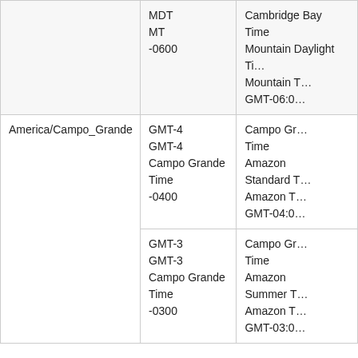| Timezone | Offset codes | Names |
| --- | --- | --- |
|  | MDT
MT
-0600 | Cambridge Bay Time
Mountain Daylight Time
Mountain Time
GMT-06:00 |
| America/Campo_Grande | GMT-4
GMT-4
Campo Grande Time
-0400 | Campo Grande Time
Amazon Standard Time
Amazon Time
GMT-04:00 |
|  | GMT-3
GMT-3
Campo Grande Time
-0300 | Campo Grande Time
Amazon Summer Time
Amazon Time
GMT-03:00 |